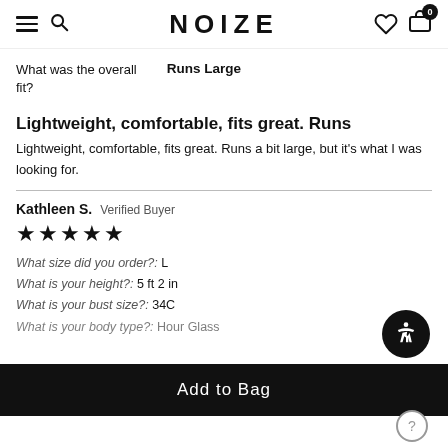NOIZE
What was the overall fit?   Runs Large
Lightweight, comfortable, fits great. Runs
Lightweight, comfortable, fits great. Runs a bit large, but it’s what I was looking for.
Kathleen S.  Verified Buyer
★★★★★
What size did you order?:  L
What is your height?:  5 ft 2 in
What is your bust size?:  34C
What is your body type?:  Hour Glass